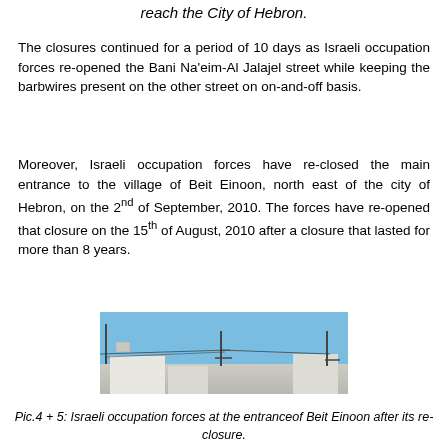reach the City of Hebron.
The closures continued for a period of 10 days as Israeli occupation forces re-opened the Bani Na'eim-Al Jalajel street while keeping the barbwires present on the other street on on-and-off basis.
Moreover, Israeli occupation forces have re-closed the main entrance to the village of Beit Einoon, north east of the city of Hebron, on the 2nd of September, 2010. The forces have re-opened that closure on the 15th of August, 2010 after a closure that lasted for more than 8 years.
[Figure (photo): Photo of Israeli occupation forces at the entrance of Beit Einoon after its re-closure, showing buildings and utility poles against a blue sky.]
Pic.4 + 5: Israeli occupation forces at the entranceof Beit Einoon after its re-closure.